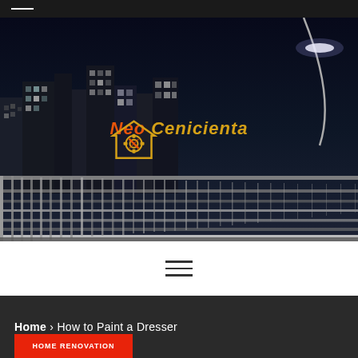[Figure (photo): Dark nighttime cityscape photo with a bridge railing in the foreground, city skyline with lit buildings in background, street lamp arcing overhead. Neo Cenicienta logo overlaid in center.]
[Figure (logo): Neo Cenicienta logo: house-shaped icon with gear, pen/bolt motifs in orange/yellow, text 'Neo Cenicienta' in italic bold orange-red and gold.]
≡
Home > How to Paint a Dresser
HOME RENOVATION